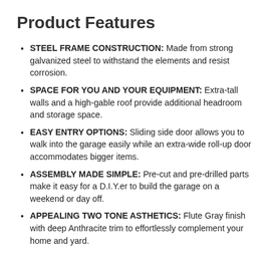Product Features
STEEL FRAME CONSTRUCTION: Made from strong galvanized steel to withstand the elements and resist corrosion.
SPACE FOR YOU AND YOUR EQUIPMENT: Extra-tall walls and a high-gable roof provide additional headroom and storage space.
EASY ENTRY OPTIONS: Sliding side door allows you to walk into the garage easily while an extra-wide roll-up door accommodates bigger items.
ASSEMBLY MADE SIMPLE: Pre-cut and pre-drilled parts make it easy for a D.I.Y.er to build the garage on a weekend or day off.
APPEALING TWO TONE ASTHETICS: Flute Gray finish with deep Anthracite trim to effortlessly complement your home and yard.